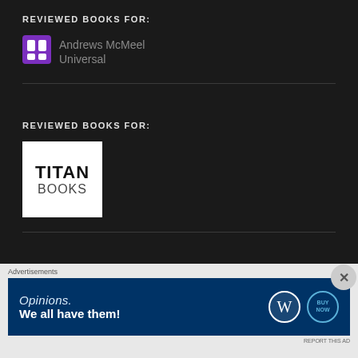REVIEWED BOOKS FOR:
[Figure (logo): Andrews McMeel Universal logo with purple mask icon and grey text]
REVIEWED BOOKS FOR:
[Figure (logo): Titan Books logo, white box with bold black text TITAN BOOKS]
REVIEWED BOOKS FOR:
[Figure (infographic): WordPress advertisement banner: Opinions. We all have them! with WordPress and Buy Now logos]
Advertisements
REPORT THIS AD